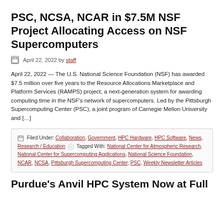PSC, NCSA, NCAR in $7.5M NSF Project Allocating Access on NSF Supercomputers
April 22, 2022 by staff
April 22, 2022 — The U.S. National Science Foundation (NSF) has awarded $7.5 million over five years to the Resource Allocations Marketplace and Platform Services (RAMPS) project, a next-generation system for awarding computing time in the NSF's network of supercomputers. Led by the Pittsburgh Supercomputing Center (PSC), a joint program of Carnegie Mellon University and […]
Filed Under: Collaboration, Government, HPC Hardware, HPC Software, News, Research / Education  Tagged With: National Center for Atmospheric Research, National Center for Supercomputing Applications, National Science Foundation, NCAR, NCSA, Pittsburgh Supercomputing Center, PSC, Weekly Newsletter Articles
Purdue's Anvil HPC System Now at Full